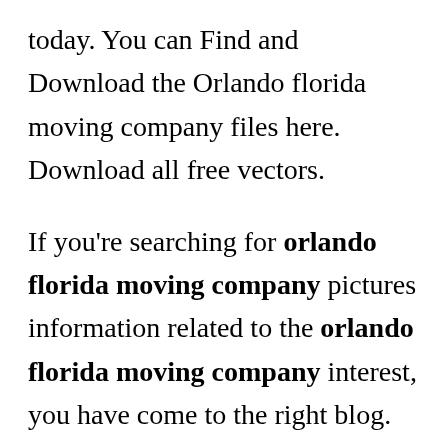today. You can Find and Download the Orlando florida moving company files here. Download all free vectors.
If you're searching for orlando florida moving company pictures information related to the orlando florida moving company interest, you have come to the right blog. Our site frequently provides you with hints for refferencing the maximum quality video and picture content, please kindly search and locate more enlightening